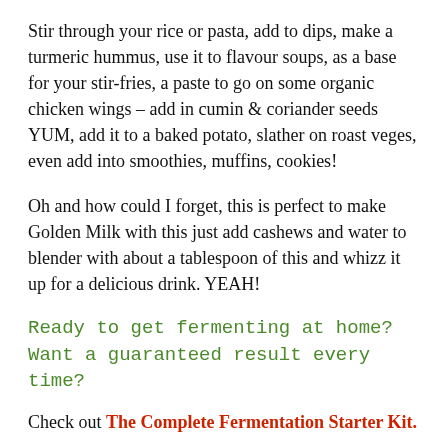Stir through your rice or pasta, add to dips, make a turmeric hummus, use it to flavour soups, as a base for your stir-fries, a paste to go on some organic chicken wings – add in cumin & coriander seeds YUM, add it to a baked potato, slather on roast veges, even add into smoothies, muffins, cookies!
Oh and how could I forget, this is perfect to make Golden Milk with this just add cashews and water to blender with about a tablespoon of this and whizz it up for a delicious drink. YEAH!
Ready to get fermenting at home? Want a guaranteed result every time?
Check out The Complete Fermentation Starter Kit.
This exclusive fermenting kit by The Raw Food Kitchen really does has everything you need to get started fermenting foods at home pronto with a 100%